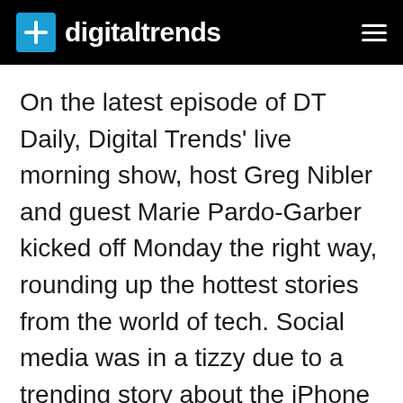digitaltrends
On the latest episode of DT Daily, Digital Trends' live morning show, host Greg Nibler and guest Marie Pardo-Garber kicked off Monday the right way, rounding up the hottest stories from the world of tech. Social media was in a tizzy due to a trending story about the iPhone X. According to a statement from the company, "Apple has determined that some iPhone X displays may experience touch issues due to a component that might fail